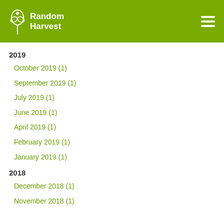[Figure (logo): Random Harvest logo with white text and plant icon on olive green header background, with hamburger menu icon on right]
2019
October 2019 (1)
September 2019 (1)
July 2019 (1)
June 2019 (1)
April 2019 (1)
February 2019 (1)
January 2019 (1)
2018
December 2018 (1)
November 2018 (1)